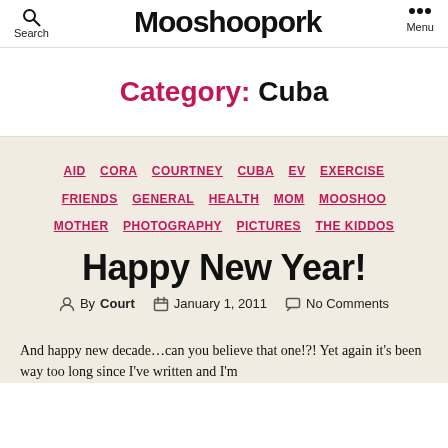Search  Mooshoopork  Menu
Category: Cuba
AID  CORA  COURTNEY  CUBA  EV  EXERCISE  FRIENDS  GENERAL  HEALTH  MOM  MOOSHOO  MOTHER  PHOTOGRAPHY  PICTURES  THE KIDDOS
Happy New Year!
By Court  January 1, 2011  No Comments
And happy new decade…can you believe that one!?! Yet again it's been way too long since I've written and I'm